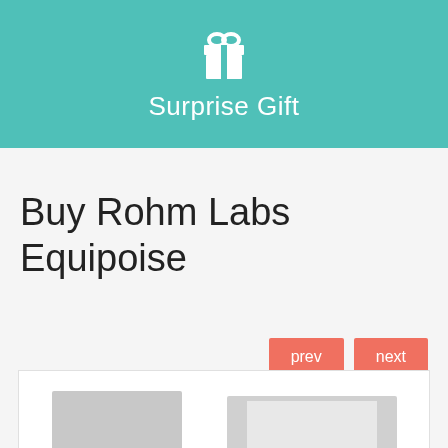[Figure (illustration): Teal/turquoise banner with white gift box icon and 'Surprise Gift' text]
Buy Rohm Labs Equipoise
prev   next
[Figure (photo): Product images showing pharmaceutical vials/boxes, partially visible at the bottom of the page]